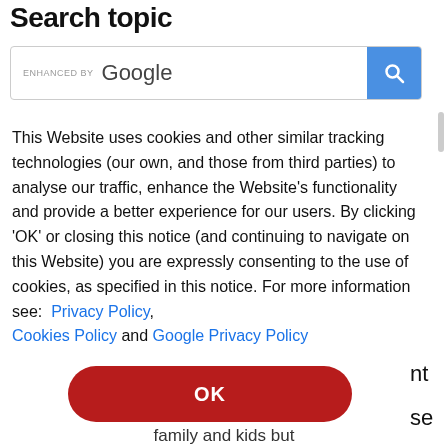Search topic
[Figure (screenshot): Google search bar with 'ENHANCED BY Google' label and blue search button with magnifying glass icon]
This Website uses cookies and other similar tracking technologies (our own, and those from third parties) to analyse our traffic, enhance the Website's functionality and provide a better experience for our users. By clicking 'OK' or closing this notice (and continuing to navigate on this Website) you are expressly consenting to the use of cookies, as specified in this notice. For more information see:  Privacy Policy, Cookies Policy and Google Privacy Policy
OK
family and kids but